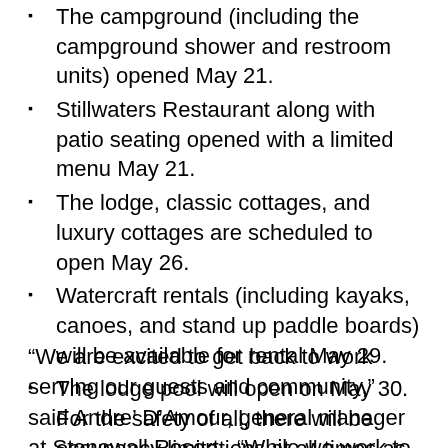The campground (including the campground shower and restroom units) opened May 21.
Stillwaters Restaurant along with patio seating opened with a limited menu May 21.
The lodge, classic cottages, and luxury cottages are scheduled to open May 26.
Watercraft rentals (including kayaks, canoes, and stand up paddle boards) will be available for rental May 29.
The lodge pool will open on May 30. For the safety of all, there will be occupancy limitations at all times as we follow all CDC Guidelines.
“We are excited to get back to work serving our guests and community,” said Andre’ D’Amour, general manager at Stonewall Resort.  “While we work to reopen the resort in stages, we promise to always